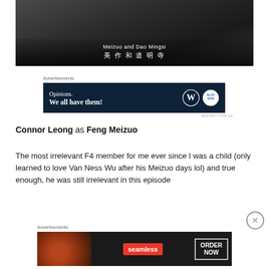[Figure (photo): Photo of a person wearing a black leather jacket and blue turtleneck, with text overlay 'Meizuo and Dao Mingsi' and Chinese characters 美作和道明寺]
Advertisements
[Figure (screenshot): Advertisement banner with dark navy background reading 'Opinions. We all have them!' with WordPress and Blog Now logos]
REPORT THIS AD
Connor Leong as Feng Meizuo
The most irrelevant F4 member for me ever since I was a child (only learned to love Van Ness Wu after his Meizuo days lol) and true enough, he was still irrelevant in this episode
Advertisements
[Figure (screenshot): Seamless food delivery advertisement with pizza image, Seamless logo in red, and ORDER NOW button]